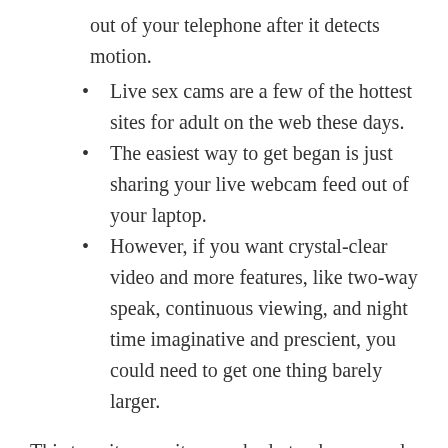out of your telephone after it detects motion.
Live sex cams are a few of the hottest sites for adult on the web these days.
The easiest way to get began is just sharing your live webcam feed out of your laptop.
However, if you want crystal-clear video and more features, like two-way speak, continuous viewing, and night time imaginative and prescient, you could need to get one thing barely larger.
This top site permits everybody to observe and voyeur on people's lives wherever they go across the condo. There are more than a dozen cameras set up round each room of the condo, with a quantity of angles so you'll be able to see every thing they are doing. If you would possibly be into sneaking the lifetime of different folks and share with